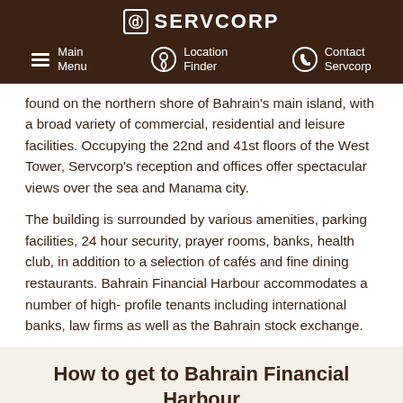SERVCORP | Main Menu | Location Finder | Contact Servcorp
found on the northern shore of Bahrain's main island, with a broad variety of commercial, residential and leisure facilities. Occupying the 22nd and 41st floors of the West Tower, Servcorp's reception and offices offer spectacular views over the sea and Manama city.
The building is surrounded by various amenities, parking facilities, 24 hour security, prayer rooms, banks, health club, in addition to a selection of cafés and fine dining restaurants. Bahrain Financial Harbour accommodates a number of high- profile tenants including international banks, law firms as well as the Bahrain stock exchange.
How to get to Bahrain Financial Harbour